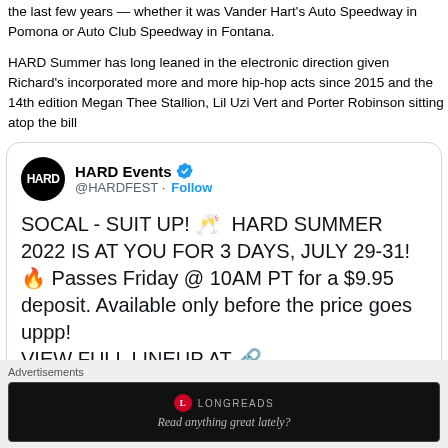the last few years — whether it was Vander Hart's Auto Speedway in Pomona or Auto Club Speedway in Fontana.
HARD Summer has long leaned in the electronic direction given Richard's incorporated more and more hip-hop acts since 2015 and the 14th edition Megan Thee Stallion, Lil Uzi Vert and Porter Robinson sitting atop the bill
[Figure (screenshot): Embedded tweet from HARD Events (@HARDFEST) with verified badge and Follow button. Tweet text: SOCAL - SUIT UP! 🥂 HARD SUMMER 2022 AT YOU FOR 3 DAYS, JULY 29-31! 🔥 Passes Friday @ 10AM PT for a $9.95 deposit. Available only before the price goes uppp! VIEW FULL LINEUP AT 🔗 HARDSUMMER.CO]
Advertisements
[Figure (screenshot): Longreads advertisement banner on black background with red circle logo and tagline 'Read anything great lately?']